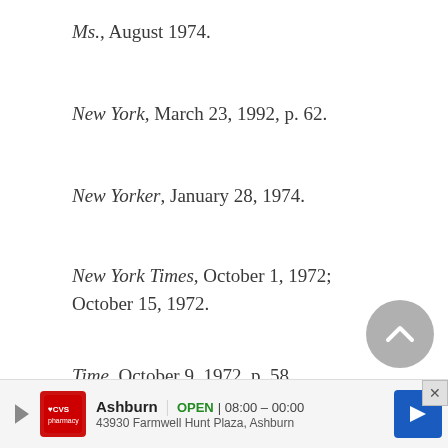Ms., August 1974.
New York, March 23, 1992, p. 62.
New Yorker, January 28, 1974.
New York Times, October 1, 1972; October 15, 1972.
Time, October 9, 1972, p. 58.
Variety, March 23, 1992, p. 35.
—Joan Goldsworthy